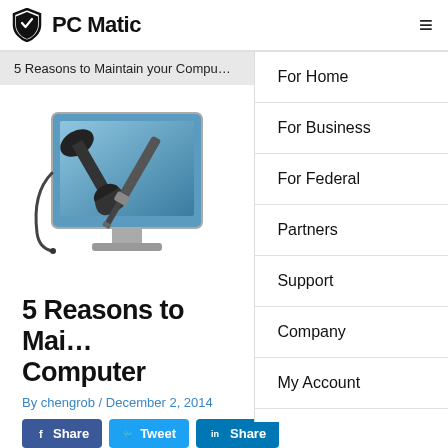PC Matic
5 Reasons to Maintain your Compu…
[Figure (illustration): Computer monitor with wrench and screwdriver tools crossed in front of it, representing PC maintenance]
5 Reasons to Main… Computer
By chengrob / December 2, 2014
For Home
For Business
For Federal
Partners
Support
Company
My Account